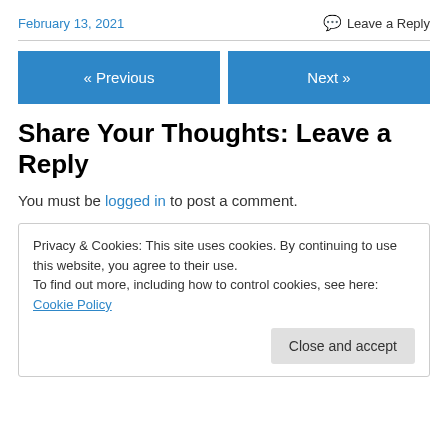February 13, 2021   Leave a Reply
Share Your Thoughts: Leave a Reply
You must be logged in to post a comment.
Privacy & Cookies: This site uses cookies. By continuing to use this website, you agree to their use.
To find out more, including how to control cookies, see here: Cookie Policy